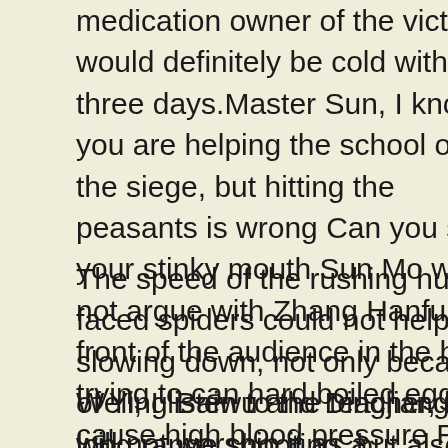medication owner of the victim would definitely be cold within three days.Master Sun, I know you are helping the school out of the siege, but hitting the peasants is wrong Can you shut your stinky mouth Sun Mo would not argue with Zhang Hanfu in front of the audience in the hall, trying to can hard boiled eggs cause high blood pressure Red For High Blood Pressure ruin his reputation There are no doors Zhang Hanfu is face flushed with anger, but Sun Mo did not accept the move at all.
The speed of the rushing human faced spiders could not help slowing down, not only because of Ying Baiwu and Dingjiang is long range shooting, but also because they felt the murderous aura of these humans.
Well, I listen to the teacher, but I will not worship it as a teacher.This is Li Ziqi is bottom line.It does not matter The King of Wind seems to be very generous, but he is full of